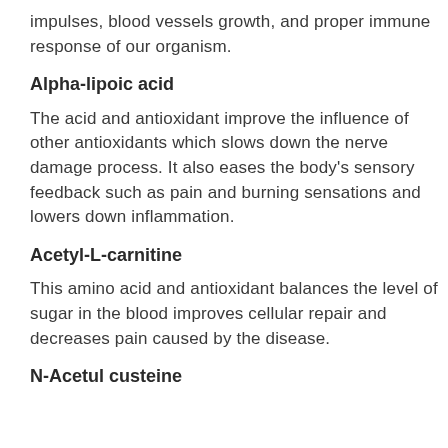impulses, blood vessels growth, and proper immune response of our organism.
Alpha-lipoic acid
The acid and antioxidant improve the influence of other antioxidants which slows down the nerve damage process. It also eases the body's sensory feedback such as pain and burning sensations and lowers down inflammation.
Acetyl-L-carnitine
This amino acid and antioxidant balances the level of sugar in the blood improves cellular repair and decreases pain caused by the disease.
N-Acetul custeine